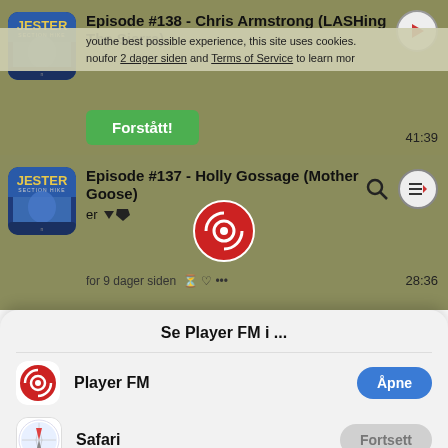[Figure (screenshot): Mobile app screenshot showing Player FM podcast app with episode listings and a cookie consent overlay, plus a bottom sheet dialog asking to open in Player FM or Safari app]
Episode #138 - Chris Armstrong (LASHing The Sierra)
To provide the best possible experience, this site uses cookies. You for 2 dager siden and Terms of Service to learn more
Forstått!
Episode #137 - Holly Gossage (Mother Goose)
for 9 dager siden
41:39
28:36
Se Player FM i ...
Player FM
Åpne
Safari
Fortsett